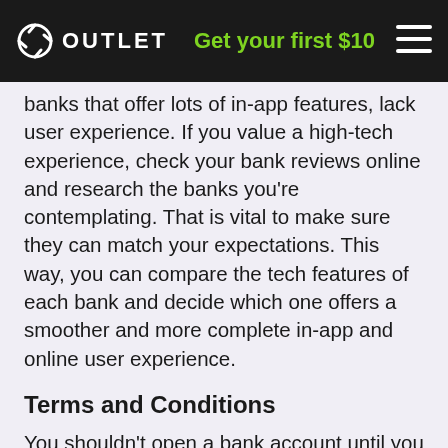OUTLET — Get your first $10
banks that offer lots of in-app features, lack user experience. If you value a high-tech experience, check your bank reviews online and research the banks you're contemplating. That is vital to make sure they can match your expectations. This way, you can compare the tech features of each bank and decide which one offers a smoother and more complete in-app and online user experience.
Terms and Conditions
You shouldn't open a bank account until you know all its terms and conditions. If there are hidden monthly maintenance fees, inquire about having them waived. Check